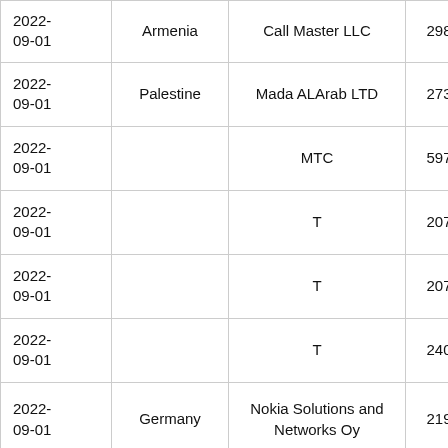| Date | Country | Company | Col4 | Col5 |
| --- | --- | --- | --- | --- |
| 2022-09-01 | Armenia | Call Master LLC | 298 | 90… |
| 2022-09-01 | Palestine | Mada ALArab LTD | 273 | 15… |
| 2022-09-01 |  | MTC | 597 | 75… |
| 2022-09-01 |  | T | 207 | 8.… |
| 2022-09-01 |  | T | 207 | 9.… |
| 2022-09-01 |  | T | 240 | 15… |
| 2022-09-01 | Germany | Nokia Solutions and Networks Oy | 219 | 17… |